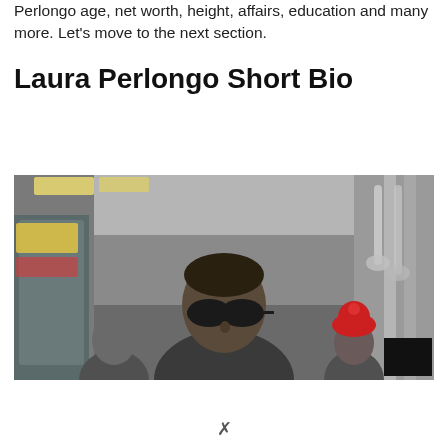Perlongo age, net worth, height, affairs, education and many more. Let’s move to the next section.
Laura Perlongo Short Bio
[Figure (photo): Photo of Laura Perlongo wearing sunglasses on a New York City subway car, viewed from the aisle looking toward the center, with other passengers in the background. A person in a red hat is visible in the background on the right side. A black rectangle is visible in the lower right corner.]